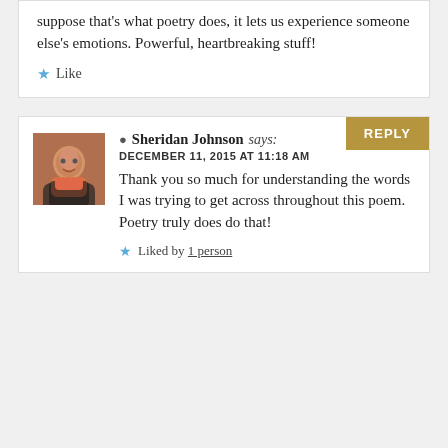suppose that’s what poetry does, it lets us experience someone else’s emotions. Powerful, heartbreaking stuff!
★ Like
★ Sheridan Johnson says: DECEMBER 11, 2015 AT 11:18 AM
Thank you so much for understanding the words I was trying to get across throughout this poem. Poetry truly does do that!
★ Liked by 1 person